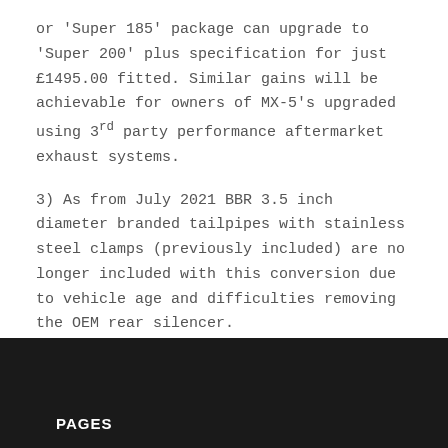or 'Super 185' package can upgrade to 'Super 200' plus specification for just £1495.00 fitted. Similar gains will be achievable for owners of MX-5's upgraded using 3rd party performance aftermarket exhaust systems.
3) As from July 2021 BBR 3.5 inch diameter branded tailpipes with stainless steel clamps (previously included) are no longer included with this conversion due to vehicle age and difficulties removing the OEM rear silencer.
PAGES